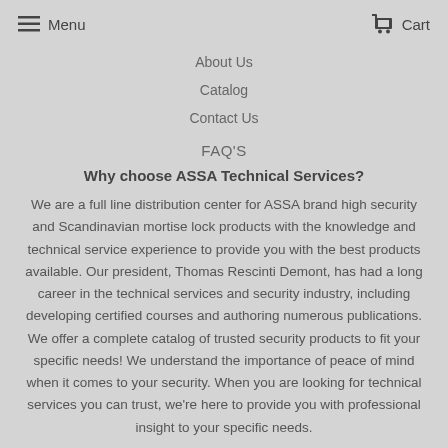Menu   Cart
About Us
Catalog
Contact Us
FAQ'S
Why choose ASSA Technical Services?
We are a full line distribution center for ASSA brand high security and Scandinavian mortise lock products with the knowledge and technical service experience to provide you with the best products available. Our president, Thomas Rescinti Demont, has had a long career in the technical services and security industry, including developing certified courses and authoring numerous publications. We offer a complete catalog of trusted security products to fit your specific needs! We understand the importance of peace of mind when it comes to your security. When you are looking for technical services you can trust, we're here to provide you with professional insight to your specific needs.